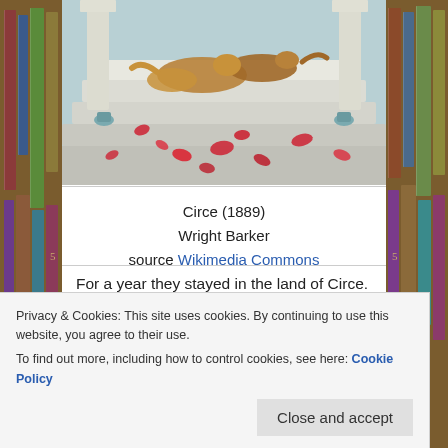[Figure (photo): Painting of the artwork 'Circe' (1889) by Wright Barker showing animals (dogs/foxes) on marble steps with red rose petals scattered around, classical columns in background]
Circe (1889)
Wright Barker
source Wikimedia Commons
For a year they stayed in the land of Circe. One day her nymph showed him a snow-white marble statue of a man with a woodpecker formed on his head. The
Privacy & Cookies: This site uses cookies. By continuing to use this website, you agree to their use.
To find out more, including how to control cookies, see here: Cookie Policy
Close and accept